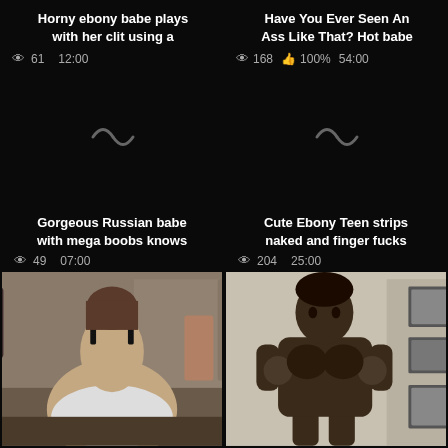Horny ebony babe plays with her clit using a
👁 61   12:00
[Figure (other): Loading spinner placeholder for video thumbnail]
Have You Ever Seen An Ass Like That? Hot babe
👁 168  👍 100%   54:00
[Figure (other): Loading spinner placeholder for video thumbnail]
Gorgeous Russian babe with mega boobs knows
👁 49   07:00
[Figure (photo): Video thumbnail showing woman from behind in white underwear]
Cute Ebony Teen strips naked and finger fucks
👁 204   25:00
[Figure (photo): Video thumbnail showing nude person indoors]